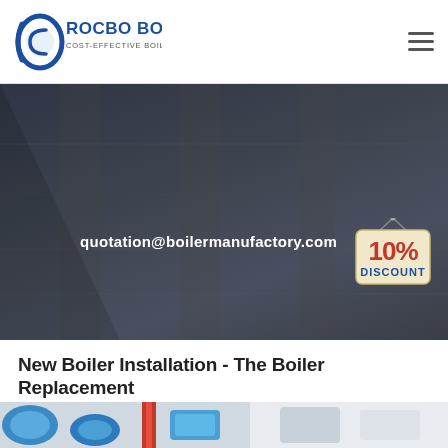[Figure (logo): Rocbo Boiler logo with circular swoosh graphic and text 'ROCBO BOILER / COST-EFFECTIVE BOILER SUPPLIER']
[Figure (photo): Dark industrial boiler room interior with metallic surfaces visible in the background hero banner; overlaid with email address 'quotation@boilermanufactory.com' and a 10% DISCOUNT badge graphic in the upper right area of the banner]
New Boiler Installation - The Boiler Replacement
[Figure (photo): Close-up photo of blue industrial boiler pipes and equipment at the bottom of the page]